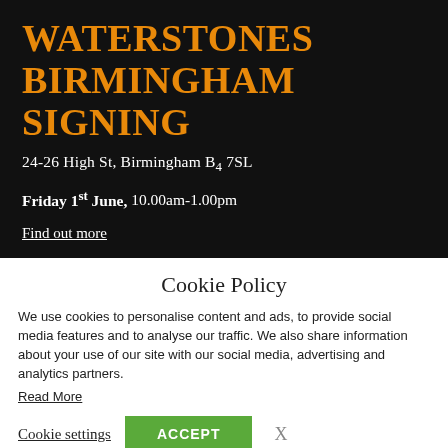WATERSTONES BIRMINGHAM SIGNING
24-26 High St, Birmingham B4 7SL
Friday 1st June, 10.00am-1.00pm
Find out more
Cookie Policy
We use cookies to personalise content and ads, to provide social media features and to analyse our traffic. We also share information about your use of our site with our social media, advertising and analytics partners.
Read More
Cookie settings   ACCEPT   X